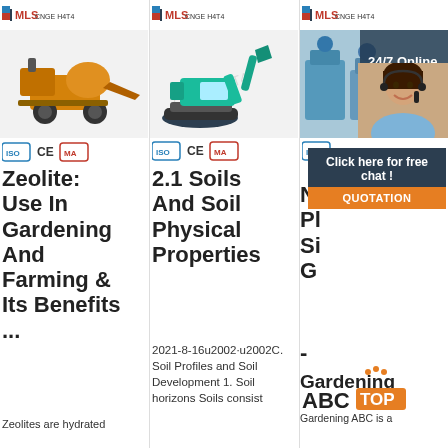[Figure (logo): MLS CNGE H4T4 logo, left column]
[Figure (photo): Yellow and black wheeled construction/farming machine, left column product image]
[Figure (logo): Certification badges: ISO, CE, MA]
Zeolite: Use In Gardening And Farming & Its Benefits ...
Zeolites are hydrated
[Figure (logo): MLS CNGE H4T4 logo, middle column]
[Figure (photo): Teal/green mini excavator, middle column product image]
[Figure (logo): Certification badges: ISO, CE, MA]
2.1 Soils And Soil Physical Properties
2021-8-16u2002·u2002C. Soil Profiles and Soil Development 1. Soil horizons Soils consist
[Figure (logo): MLS CNGE H4T4 logo, right column]
[Figure (photo): Blue industrial machinery, right column product image with 24/7 Online chat overlay showing a woman with headset]
24/7 Online
Click here for free chat !
QUOTATION
Nu Pl Si G
-
[Figure (logo): Gardening TOP ABC logo]
Gardening ABC is a